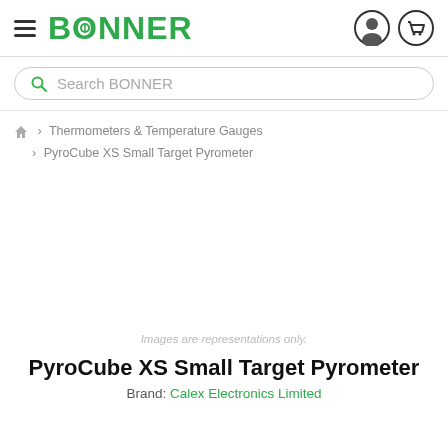BONNER
Search BONNER
🏠 > Thermometers & Temperature Gauges > PyroCube XS Small Target Pyrometer
[Figure (photo): Product image area (blank/white) with note: Images are representations only.]
Images are representations only.
PyroCube XS Small Target Pyrometer
Brand: Calex Electronics Limited